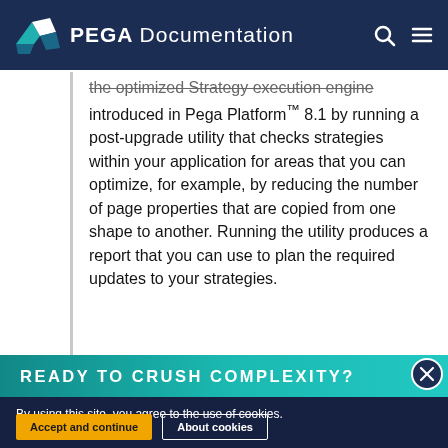PEGA Documentation
the optimized Strategy execution engine introduced in Pega Platform™ 8.1 by running a post-upgrade utility that checks strategies within your application for areas that you can optimize, for example, by reducing the number of page properties that are copied from one shape to another. Running the utility produces a report that you can use to plan the required updates to your strategies.
READY TO CRUSH COMPLEXITY?
By using this site, you agree to the use of cookies. Read our Privacy Policy
Accept and continue   About cookies